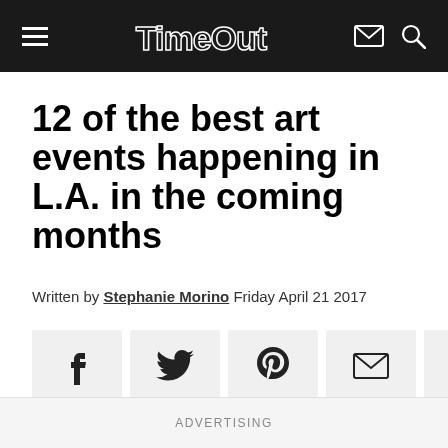Time Out
12 of the best art events happening in L.A. in the coming months
Written by Stephanie Morino Friday April 21 2017
[Figure (infographic): Social share buttons row: Facebook, Twitter, Pinterest, Email, WhatsApp]
ADVERTISING